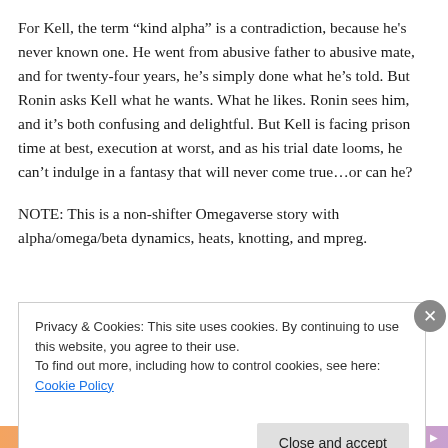For Kell, the term “kind alpha” is a contradiction, because he's never known one. He went from abusive father to abusive mate, and for twenty-four years, he’s simply done what he’s told. But Ronin asks Kell what he wants. What he likes. Ronin sees him, and it’s both confusing and delightful. But Kell is facing prison time at best, execution at worst, and as his trial date looms, he can’t indulge in a fantasy that will never come true…or can he?
NOTE: This is a non-shifter Omegaverse story with alpha/omega/beta dynamics, heats, knotting, and mpreg.
Privacy & Cookies: This site uses cookies. By continuing to use this website, you agree to their use.
To find out more, including how to control cookies, see here: Cookie Policy